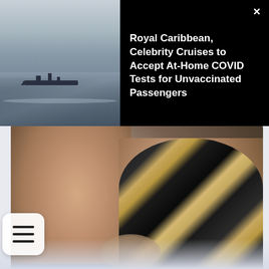[Figure (photo): Cruise ship silhouette on calm water with misty grey sky]
Royal Caribbean, Celebrity Cruises to Accept At-Home COVID Tests for Unvaccinated Passengers
[Figure (photo): Close-up of a couple touching foreheads, woman with highlighted hair wearing an engagement ring, man in blue shirt]
[Figure (other): Hamburger menu button overlay]